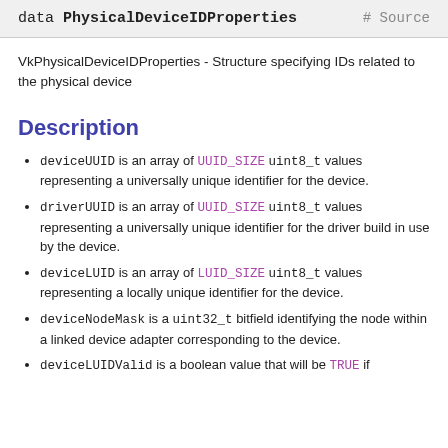data PhysicalDeviceIDProperties  # Source
VkPhysicalDeviceIDProperties - Structure specifying IDs related to the physical device
Description
deviceUUID is an array of UUID_SIZE uint8_t values representing a universally unique identifier for the device.
driverUUID is an array of UUID_SIZE uint8_t values representing a universally unique identifier for the driver build in use by the device.
deviceLUID is an array of LUID_SIZE uint8_t values representing a locally unique identifier for the device.
deviceNodeMask is a uint32_t bitfield identifying the node within a linked device adapter corresponding to the device.
deviceLUIDValid is a boolean value that will be TRUE if